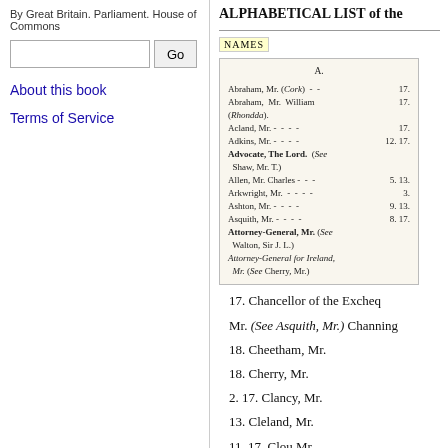By Great Britain. Parliament. House of Commons
Search input and Go button
About this book
Terms of Service
ALPHABETICAL LIST of the
NAMES
| Name | Page |
| --- | --- |
| A. |  |
| Abraham, Mr. (Cork) | 17. |
| Abraham, Mr. William (Rhondda). | 17. |
| Acland, Mr. | 17. |
| Adkins, Mr. | 12. 17. |
| Advocate, The Lord. (See Shaw, Mr. T.) |  |
| Allen, Mr. Charles | 5. 13. |
| Arkwright, Mr. | 3. |
| Ashton, Mr. | 9. 13. |
| Asquith, Mr. | 8. 17. |
| Attorney-General, Mr. (See Walton, Sir J. L.) |  |
| Attorney-General for Ireland, Mr. (See Cherry, Mr.) |  |
17. Chancellor of the Excheq
Mr. (See Asquith, Mr.) Channing
18. Cheetham, Mr.
18. Cherry, Mr.
2. 17. Clancy, Mr.
13. Cleland, Mr.
11. 17. Clou Mr.